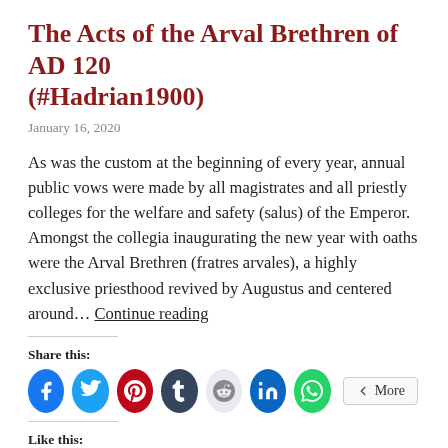The Acts of the Arval Brethren of AD 120 (#Hadrian1900)
January 16, 2020
As was the custom at the beginning of every year, annual public vows were made by all magistrates and all priestly colleges for the welfare and safety (salus) of the Emperor. Amongst the collegia inaugurating the new year with oaths were the Arval Brethren (fratres arvales), a highly exclusive priesthood revived by Augustus and centered around… Continue reading
Share this:
[Figure (other): Social media share buttons: Facebook, Twitter, Pinterest, Tumblr, Reddit, LinkedIn, WhatsApp, and More]
Like this: